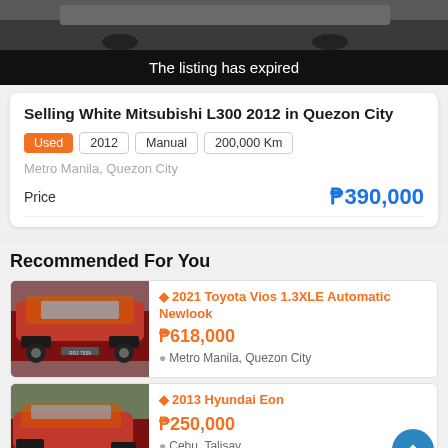[Figure (photo): Top portion of a car photo, partially visible, dark tones]
The listing has expired
Selling White Mitsubishi L300 2012 in Quezon City
Used | 2012 | Manual | 200,000 Km
Metro Manila, Quezon City
Price   ₱390,000
Recommended For You
[Figure (photo): Red Toyota Vios 2021 front view]
2021 Toyota Vios 1.3XLE Automatic Newlook
₱618,000
Metro Manila, Quezon City
[Figure (photo): Red Hyundai Eon 2013 front-side view]
2013 Hyundai Eon
₱250,000
Cebu, Talisay